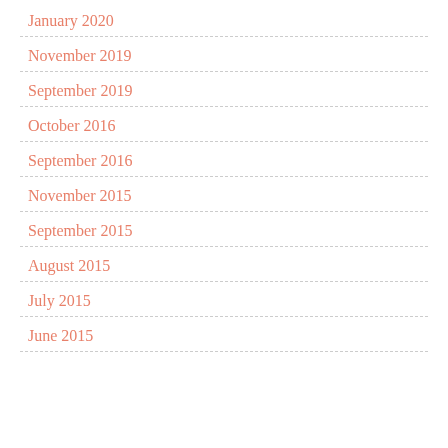January 2020
November 2019
September 2019
October 2016
September 2016
November 2015
September 2015
August 2015
July 2015
June 2015